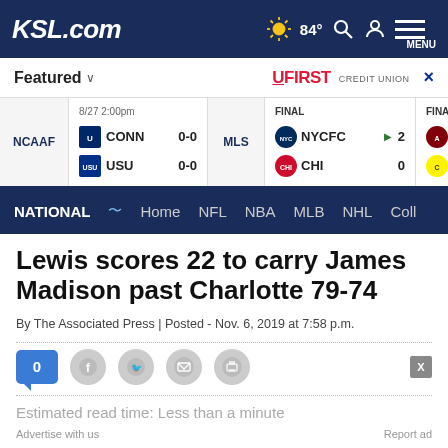KSL.com — 84° weather, search, account, menu
Featured ∨ | UFIRST CREDIT UNION ×
| Sport | Game Info | Score |
| --- | --- | --- |
| NCAAF | 8/27 2:00pm CONN | 0-0 |
| NCAAF | USU | 0-0 |
| MLS | FINAL NYCFC | 2 |
| MLS | CHI | 0 |
| FINAL | ATL |  |
| FINAL | CLB |  |
NATIONAL ~ Home NFL NBA MLB NHL Coll
Lewis scores 22 to carry James Madison past Charlotte 79-74
By The Associated Press | Posted - Nov. 6, 2019 at 7:58 p.m.
0 [share icons: Facebook, Twitter, Email, Print]
Estimated read time: Less than a minute
Advertise with us | Report ad